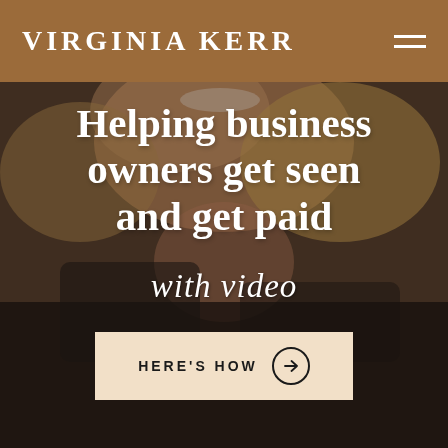VIRGINIA KERR
[Figure (photo): Close-up photo of a smiling blonde woman wearing a black top, used as hero background image]
Helping business owners get seen and get paid
with video
HERE'S HOW →